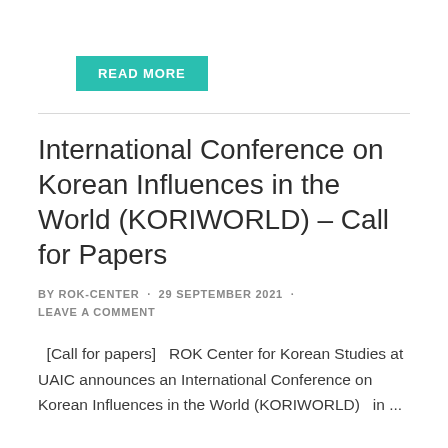[Figure (other): Teal/turquoise button with white bold uppercase text 'READ MORE']
International Conference on Korean Influences in the World (KORIWORLD) – Call for Papers
BY ROK-CENTER · 29 SEPTEMBER 2021 · LEAVE A COMMENT
[Call for papers]   ROK Center for Korean Studies at UAIC announces an International Conference on Korean Influences in the World (KORIWORLD)   in ...